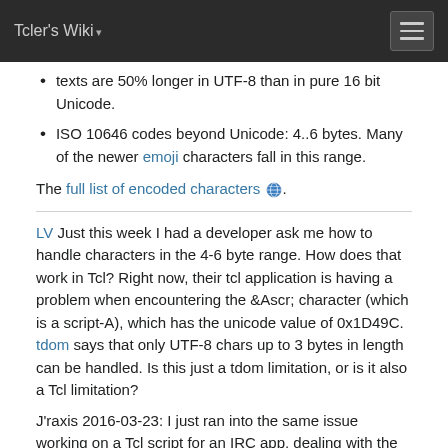Tcler's Wiki
texts are 50% longer in UTF-8 than in pure 16 bit Unicode.
ISO 10646 codes beyond Unicode: 4..6 bytes. Many of the newer emoji characters fall in this range.
The full list of encoded characters 🌐.
LV Just this week I had a developer ask me how to handle characters in the 4-6 byte range. How does that work in Tcl? Right now, their tcl application is having a problem when encountering the &Ascr; character (which is a script-A), which has the unicode value of 0x1D49C. tdom says that only UTF-8 chars up to 3 bytes in length can be handled. Is this just a tdom limitation, or is it also a Tcl limitation?
J'raxis 2016-03-23: I just ran into the same issue working on a Tcl script for an IRC app, dealing with the increasingly popular emoji characters. Above it says Tcl represents Unicode internally with 16 bits, which means U+FFFF is the highest it can support. For example Tcl will output U+1F4A9 as "ð\x9f\x92©". In the same line of text I was testing with, other UTF-8-encoded input characters in